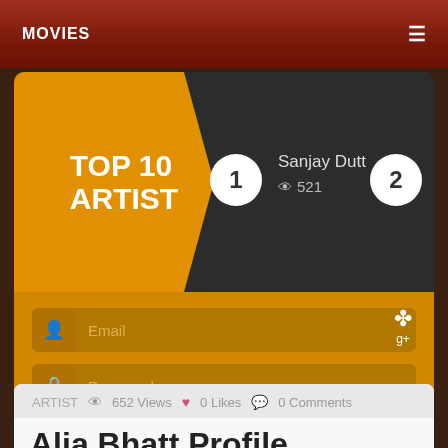MOVIES
TOP 10 ARTIST
1
Sanjay Dutt
👁 521
2
Email
Password
register →
ARTIST  👁 652 Views  ♥ 0 Likes  💬 0 Comments
Alia Bhatt Profile